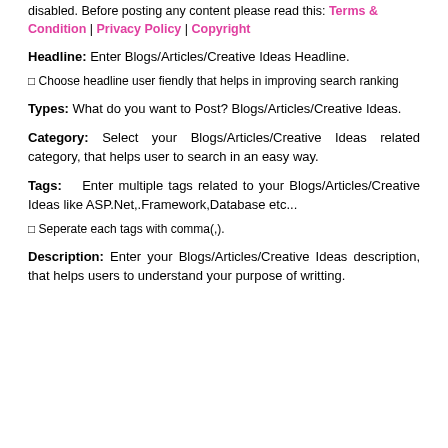disabled. Before posting any content please read this: Terms & Condition | Privacy Policy | Copyright
Headline: Enter Blogs/Articles/Creative Ideas Headline.
☐ Choose headline user fiendly that helps in improving search ranking
Types: What do you want to Post? Blogs/Articles/Creative Ideas.
Category: Select your Blogs/Articles/Creative Ideas related category, that helps user to search in an easy way.
Tags: Enter multiple tags related to your Blogs/Articles/Creative Ideas like ASP.Net,.Framework,Database etc...
☐ Seperate each tags with comma(,).
Description: Enter your Blogs/Articles/Creative Ideas description, that helps users to understand your purpose of writting.